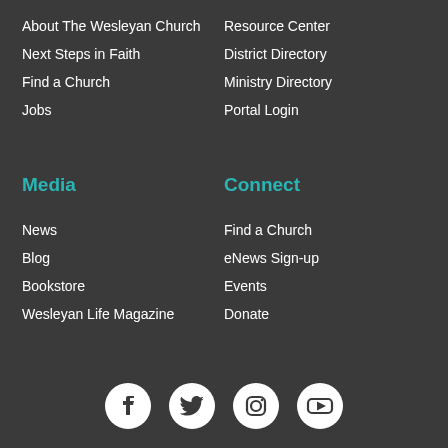About The Wesleyan Church
Next Steps in Faith
Find a Church
Jobs
Resource Center
District Directory
Ministry Directory
Portal Login
Media
Connect
News
Blog
Bookstore
Wesleyan Life Magazine
Find a Church
eNews Sign-up
Events
Donate
[Figure (infographic): Social media icons: Facebook, Twitter, Instagram, YouTube]